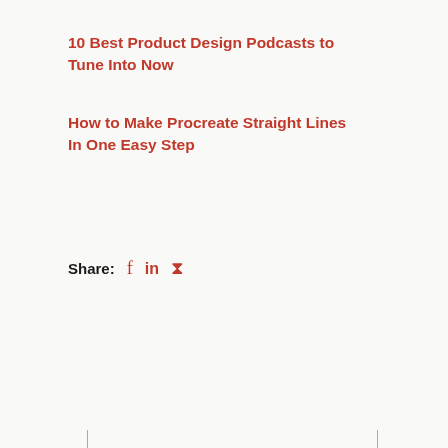10 Best Product Design Podcasts to Tune Into Now
How to Make Procreate Straight Lines In One Easy Step
Share: f in ℗